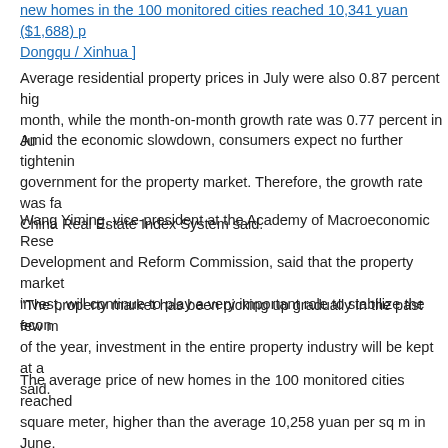new homes in the 100 monitored cities reached 10,341 yuan ($1,688) p... Dongqu / Xinhua ]
Average residential property prices in July were also 0.87 percent hig... month, while the month-on-month growth rate was 0.77 percent in Ju...
Amid the economic slowdown, consumers expect no further tightenin... government for the property market. Therefore, the growth rate was fa... China Real Estate Index System said.
Wang Yiming, vice-president at the Academy of Macroeconomic Rese... Development and Reform Commission, said that the property market... invest, will continue to play a very important role to stabilize the econ...
"The property market has been picking up gradually in the past few m... of the year, investment in the entire property industry will be kept at a... said.
The average price of new homes in the 100 monitored cities reached... square meter, higher than the average 10,258 yuan per sq m in June,... Index System's figures showed.
A total of 61 cities out of the 100 monitored cities saw average housin... in July, while 39 saw declines. The average residential housing price ... province, was up 4.5 percent month-on-month in July, the highest gro... monitored cities. Average residential housing prices in Beijing and Sh... and 0.9 percent, respectively.
Meanwhile, average housing prices in the 288 Chinese cities monitor...